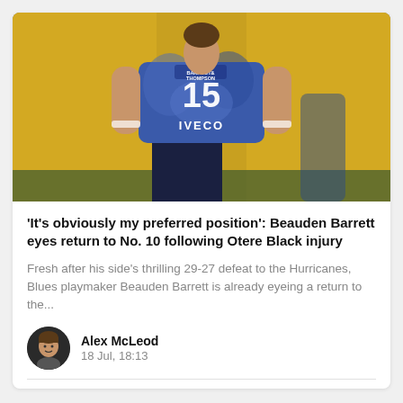[Figure (photo): Rugby player wearing a blue jersey with number 15 and IVECO sponsor, viewed from behind, standing on a rugby field with yellow stadium seats in background]
'It's obviously my preferred position': Beauden Barrett eyes return to No. 10 following Otere Black injury
Fresh after his side's thrilling 29-27 defeat to the Hurricanes, Blues playmaker Beauden Barrett is already eyeing a return to the...
Alex McLeod
18 Jul, 18:13